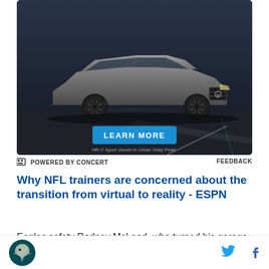[Figure (photo): Honda HR-V Sport SUV advertisement showing the vehicle in Urban Gray Pearl color on a dark road background, with a blue 'LEARN MORE' button and disclaimer text 'HR-V Sport shown in Urban Gray Pearl.']
POWERED BY CONCERT
FEEDBACK
Why NFL trainers are concerned about the transition from virtual to reality - ESPN
Eagles safety Rodney McLeod, who turned his garage
[Figure (logo): Philadelphia Eagles logo - eagle head in green and silver]
[Figure (other): Twitter bird icon in blue]
[Figure (other): Facebook f icon in blue]